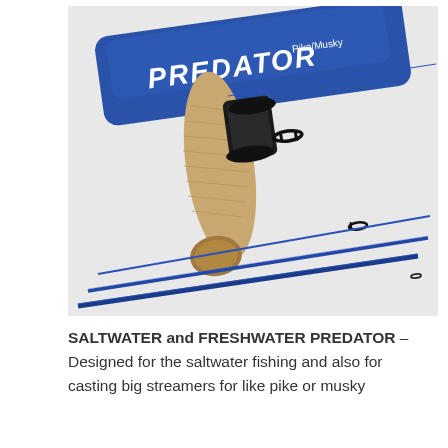[Figure (photo): A blue fishing fly rod (PREDATOR Pike/Musky) disassembled into multiple sections, laid alongside a blue rod bag labeled PREDATOR Pike/Musky. The rod has a cork grip, black reel seat, and blue blank sections with guide rings visible.]
SALTWATER and FRESHWATER PREDATOR – Designed for the saltwater fishing and also for casting big streamers for like pike or musky